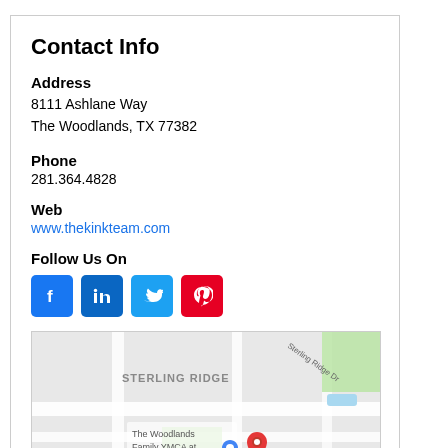Contact Info
Address
8111 Ashlane Way
The Woodlands, TX 77382
Phone
281.364.4828
Web
www.thekinkteam.com
Follow Us On
[Figure (other): Social media icons: Facebook, LinkedIn, Twitter, Pinterest]
[Figure (map): Google Maps showing Sterling Ridge area, The Woodlands Family YMCA, with red and blue map pins near Woodlands Pkwy]